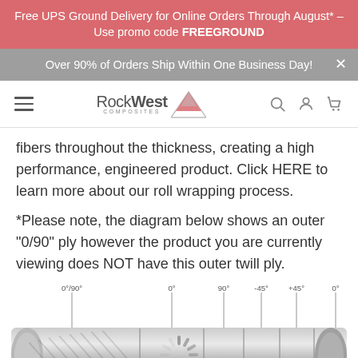Free UPS Ground Delivery for Online Orders Through August* – Use promo code FREEGROUND
Over 90% of Orders Ship Within One Business Day!
[Figure (logo): Rock West Composites logo with mountain icon and navigation icons (hamburger menu, search, account, cart)]
fibers throughout the thickness, creating a high performance, engineered product. Click HERE to learn more about our roll wrapping process.
*Please note, the diagram below shows an outer "0/90" ply however the product you are currently viewing does NOT have this outer twill ply.
[Figure (engineering-diagram): Cross-section diagram of a carbon fiber tube showing labeled plies: 0°/90°, 0°, 90°, -45°, +45°, 0° with a loading spinner overlay in the center]